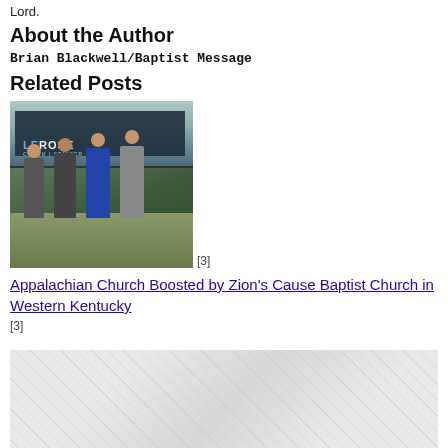Lord.
About the Author
Brian Blackwell/Baptist Message
Related Posts
[Figure (photo): Group photo of four people standing in front of a LeRose bus/vehicle outdoors]
[3]
Appalachian Church Boosted by Zion's Cause Baptist Church in Western Kentucky [3]
[Figure (photo): Second related post image with light gray diagonal pattern background]